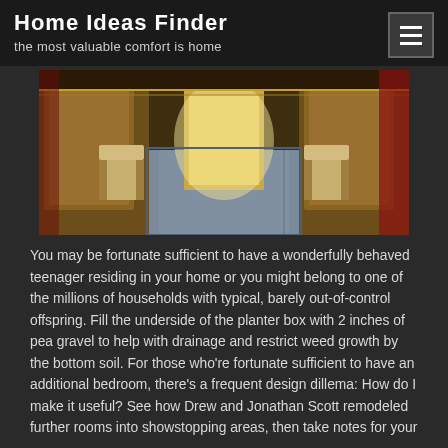Home Ideas Finder
the most valuable comfort is home
[Figure (photo): Interior hallway of an ornate, luxurious room with golden decor, elegant chairs, and a patterned carpet runner leading down the corridor.]
You may be fortunate sufficient to have a wonderfully behaved teenager residing in your home or you might belong to one of the millions of households with typical, barely out-of-control offspring. Fill the underside of the planter box with 2 inches of pea gravel to help with drainage and restrict weed growth by the bottom soil. For those who're fortunate sufficient to have an additional bedroom, there's a frequent design dillema: How do I make it useful? See how Drew and Jonathan Scott remodeled further rooms into showstopping areas, then take notes for your